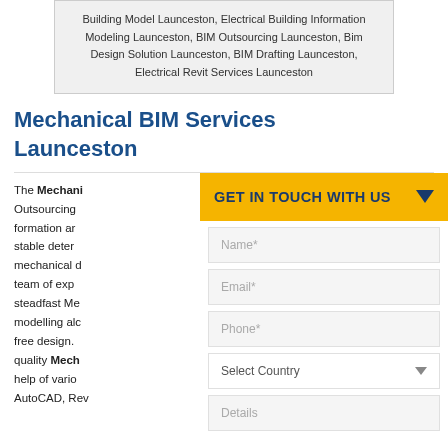Building Model Launceston, Electrical Building Information Modeling Launceston, BIM Outsourcing Launceston, Bim Design Solution Launceston, BIM Drafting Launceston, Electrical Revit Services Launceston
Mechanical BIM Services Launceston
The Mechanical BIM Outsourcing formation and stable determination mechanical d team of exp steadfast Me modelling alc free design. quality Mech help of vario AutoCAD, Rev
[Figure (other): Contact form panel with yellow GET IN TOUCH WITH US header, and fields for Name*, Email*, Phone*, Select Country dropdown, and Details]